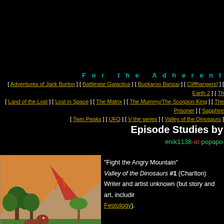For the Adherent
[ Adventures of Jack Burton ] [ Battlestar Galactica ] [ Buckaroo Banzai ] [ Cliffhangers! ] [ Earth 2 ] [ Th... [ Land of the Lost ] [ Lost in Space ] [ The Matrix ] [ The Mummy/The Scorpion King ] [ The Prisoner ] [ Sapphire... [ Twin Peaks ] [ UFO ] [ V the series ] [ Valley of the Dinosaurs ] ...
Episode Studies by
enik1138-at-popapo...
[Figure (illustration): Comic book cover or panel illustration showing a dinosaur (T-Rex) in a prehistoric landscape with volcano, mountains, and jungle vegetation. Red/orange volcano in background, green tropical trees, orange sky.]
"Fight the Angry Mountain"
Valley of the Dinosaurs #1 (Charlton)
Writer and artist unknown (but story and art, including Festology).
A volcanic flow threatens the village.
Story Summary